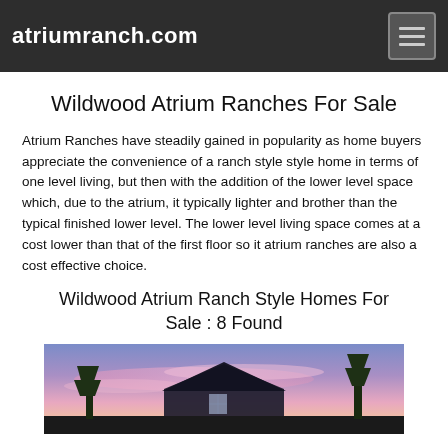atriumranch.com
Wildwood Atrium Ranches For Sale
Atrium Ranches have steadily gained in popularity as home buyers appreciate the convenience of a ranch style style home in terms of one level living, but then with the addition of the lower level space which, due to the atrium, it typically lighter and brother than the typical finished lower level. The lower level living space comes at a cost lower than that of the first floor so it atrium ranches are also a cost effective choice.
Wildwood Atrium Ranch Style Homes For Sale : 8 Found
[Figure (photo): House at dusk with purple-pink sky gradient, showing roofline and trees]